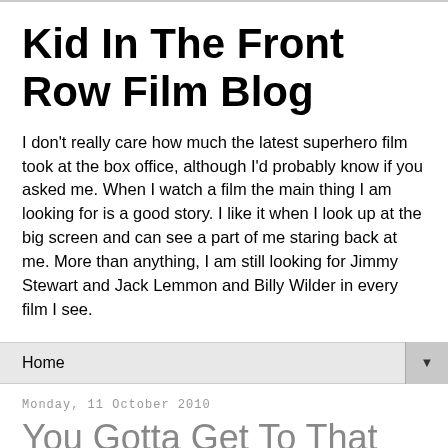Kid In The Front Row Film Blog
I don't really care how much the latest superhero film took at the box office, although I'd probably know if you asked me. When I watch a film the main thing I am looking for is a good story. I like it when I look up at the big screen and can see a part of me staring back at me. More than anything, I am still looking for Jimmy Stewart and Jack Lemmon and Billy Wilder in every film I see.
Home
Monday, 11 October 2010
You Gotta Get To That Place, Where You Really Wanna Be